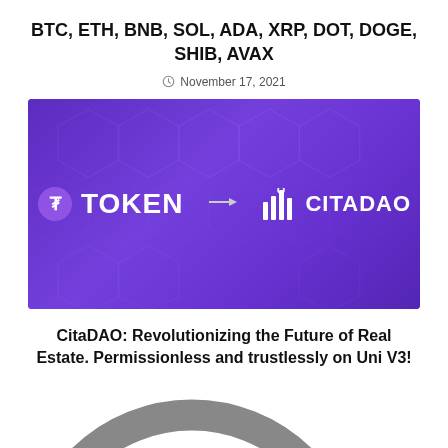BTC, ETH, BNB, SOL, ADA, XRP, DOT, DOGE, SHIB, AVAX
November 17, 2021
[Figure (photo): Purple/violet branded banner showing 'TOKEN' logo on the left with an arrow pointing to 'CITADAO' logo on the right, on a dark purple geometric background with hexagonal patterns.]
CitaDAO: Revolutionizing the Future of Real Estate. Permissionless and trustlessly on Uni V3!
June 8, 2022